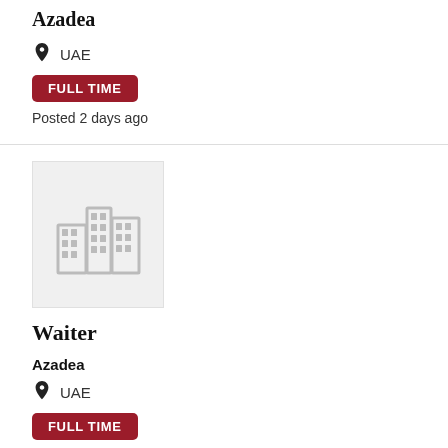Azadea
UAE
FULL TIME
Posted 2 days ago
[Figure (illustration): Grey building/company placeholder logo icon]
Waiter
Azadea
UAE
FULL TIME
Posted 2 days ago